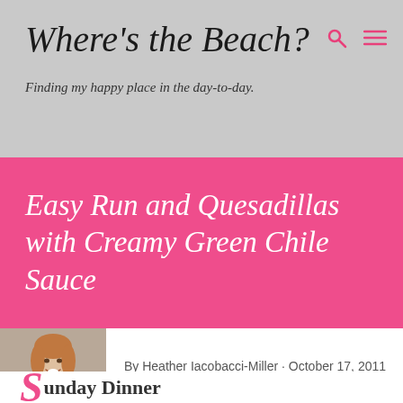Where's the Beach?
Finding my happy place in the day-to-day.
Easy Run and Quesadillas with Creamy Green Chile Sauce
[Figure (photo): Author photo of Heather Iacobacci-Miller, a woman with reddish-brown hair smiling, wearing a black dress with a gold necklace]
By Heather Iacobacci-Miller · October 17, 2011
Sunday Dinner